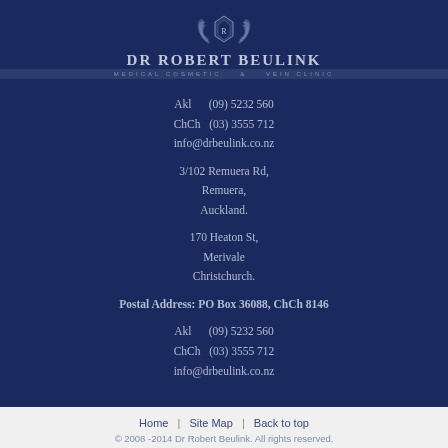[Figure (logo): Dr Robert Beulink Medical Cosmetic & Vein Clinic logo with emblem and text]
Akl    (09) 5232 560
ChCh  (03) 3555 712
info@drbeulink.co.nz
3/102 Remuera Rd,
Remuera,
Auckland.
170 Heaton St,
Merivale
Christchurch.
Postal Address: PO Box 36088, ChCh 8146
Akl    (09) 5232 560
ChCh  (03) 3555 712
info@drbeulink.co.nz
Home  |  Site Map  |  Back to top
© 2008 -2014 Dr Robert Beulink. All rights reserved.